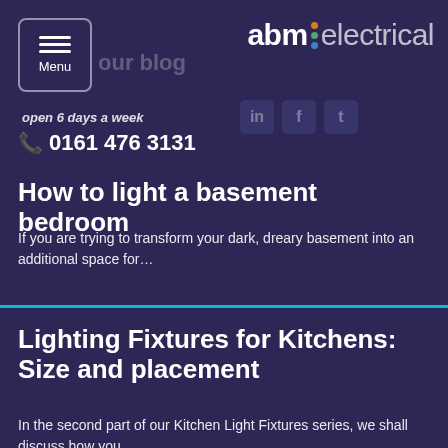abm:electrical — Menu — open 6 days a week — 0161 476 3131
How to light a basement bedroom
If you are trying to transform your dark, dreary basement into an additional space for…
Lighting Fixtures for Kitchens: Size and placement
In the second part of our Kitchen Light Fixtures series, we shall discuss how you…